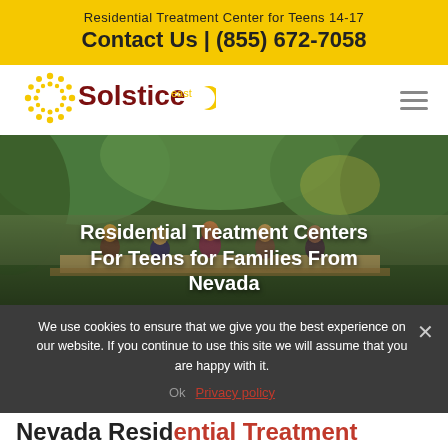Residential Treatment Center for Teens 14-17
Contact Us | (855) 672-7058
[Figure (logo): Solstice East logo with sun/dots motif in yellow and red, text 'Solstice' in dark red with 'east' in yellow crescent]
Residential Treatment Centers For Teens for Families From Nevada
[Figure (photo): Group of teen girls sitting on a dock outdoors, surrounded by green trees and nature]
We use cookies to ensure that we give you the best experience on our website. If you continue to use this site we will assume that you are happy with it.
Ok   Privacy policy
Nevada Residential Treatment Centers for Te...